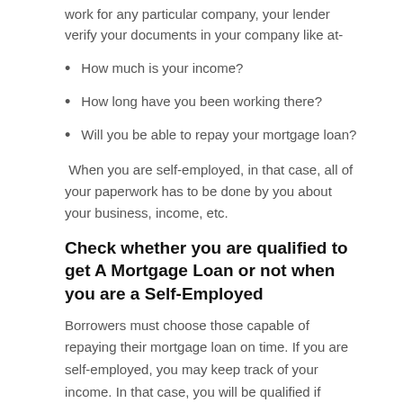work for any particular company, your lender verify your documents in your company like at-
How much is your income?
How long have you been working there?
Will you be able to repay your mortgage loan?
When you are self-employed, in that case, all of your paperwork has to be done by you about your business, income, etc.
Check whether you are qualified to get A Mortgage Loan or not when you are a Self-Employed
Borrowers must choose those capable of repaying their mortgage loan on time. If you are self-employed, you may keep track of your income. In that case, you will be qualified if